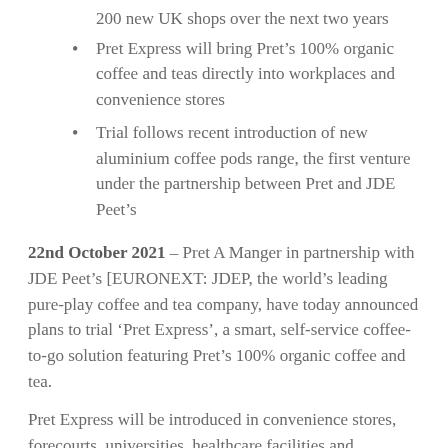200 new UK shops over the next two years
Pret Express will bring Pret's 100% organic coffee and teas directly into workplaces and convenience stores
Trial follows recent introduction of new aluminium coffee pods range, the first venture under the partnership between Pret and JDE Peet's
22nd October 2021 – Pret A Manger in partnership with JDE Peet's [EURONEXT: JDEP, the world's leading pure-play coffee and tea company, have today announced plans to trial 'Pret Express', a smart, self-service coffee-to-go solution featuring Pret's 100% organic coffee and tea.
Pret Express will be introduced in convenience stores, forecourts, universities, healthcare facilities and workplaces, offering the same organic coffees and teas customers enjoy in Pret hops in places where Pret